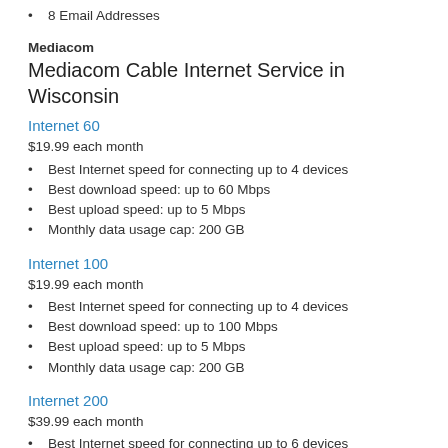8 Email Addresses
Mediacom
Mediacom Cable Internet Service in Wisconsin
Internet 60
$19.99 each month
Best Internet speed for connecting up to 4 devices
Best download speed: up to 60 Mbps
Best upload speed: up to 5 Mbps
Monthly data usage cap: 200 GB
Internet 100
$19.99 each month
Best Internet speed for connecting up to 4 devices
Best download speed: up to 100 Mbps
Best upload speed: up to 5 Mbps
Monthly data usage cap: 200 GB
Internet 200
$39.99 each month
Best Internet speed for connecting up to 6 devices
Best download speed: up to 200 Mbps